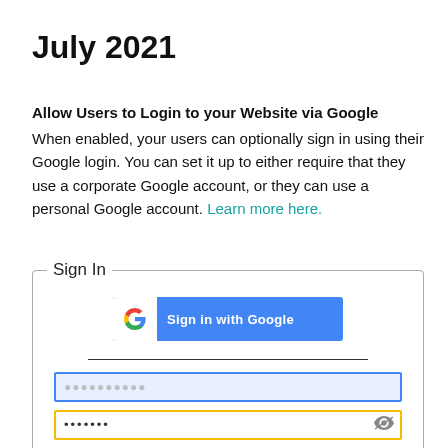July 2021
Allow Users to Login to your Website via Google
When enabled, your users can optionally sign in using their Google login. You can set it up to either require that they use a corporate Google account, or they can use a personal Google account. Learn more here.
[Figure (screenshot): A Sign In form with a 'Sign in with Google' button (blue with Google G logo), a horizontal divider line, a username input field with blue border and light blue background, and a password input field with yellow/gold border showing dots and an eye icon.]